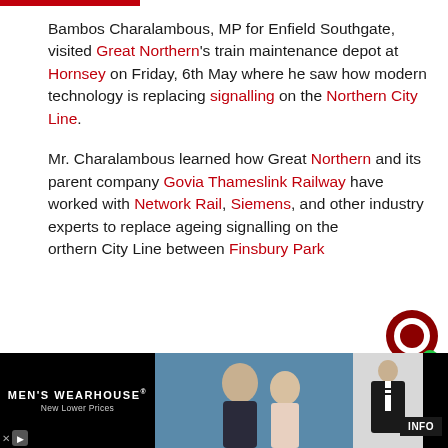Bambos Charalambous, MP for Enfield Southgate, visited Great Northern's train maintenance depot at Hornsey on Friday, 6th May where he saw how modern technology is replacing signalling on the Northern City Line.
Mr. Charalambous learned how Great Northern and its parent company Govia Thameslink Railway have worked with Network Rail, Siemens, and other industry experts to replace ageing signalling on the Northern City Line between Finsbury Park
[Figure (other): Advertisement for Men's Wearhouse featuring couple in formal wear and a man in a tuxedo, with INFO button]